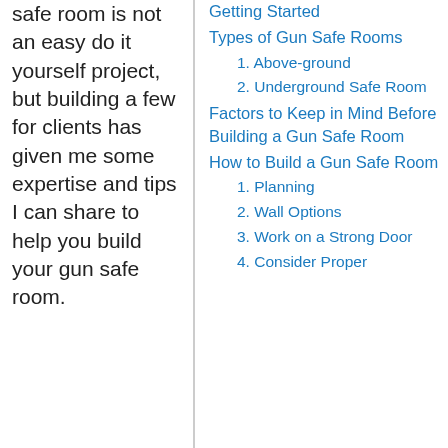safe room is not an easy do it yourself project, but building a few for clients has given me some expertise and tips I can share to help you build your gun safe room.
Getting Started
Types of Gun Safe Rooms
1. Above-ground
2. Underground Safe Room
Factors to Keep in Mind Before Building a Gun Safe Room
How to Build a Gun Safe Room
1. Planning
2. Wall Options
3. Work on a Strong Door
4. Consider Proper